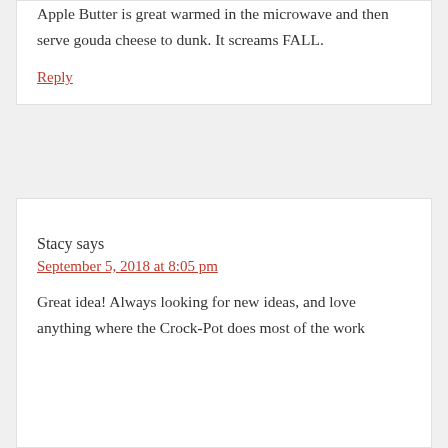Apple Butter is great warmed in the microwave and then serve gouda cheese to dunk. It screams FALL.
Reply
Stacy says
September 5, 2018 at 8:05 pm
Great idea! Always looking for new ideas, and love anything where the Crock-Pot does most of the work